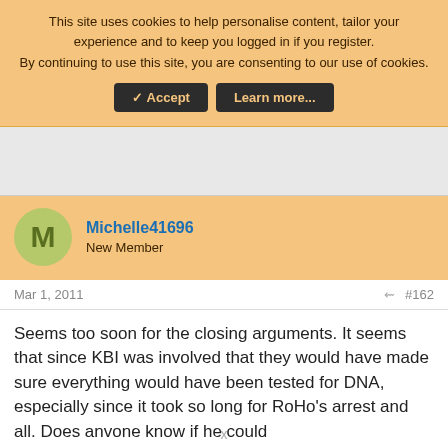This site uses cookies to help personalise content, tailor your experience and to keep you logged in if you register.
By continuing to use this site, you are consenting to our use of cookies.
Accept  Learn more...
Michelle41696
New Member
Mar 1, 2011
#162
Seems too soon for the closing arguments. It seems that since KBI was involved that they would have made sure everything would have been tested for DNA, especially since it took so long for RoHo's arrest and all. Does anvone know if he could